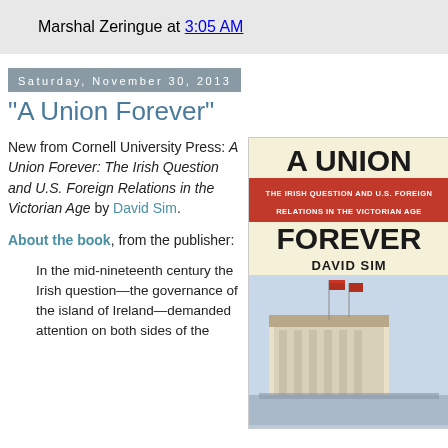Marshal Zeringue at 3:05 AM
Saturday, November 30, 2013
"A Union Forever"
New from Cornell University Press: A Union Forever: The Irish Question and U.S. Foreign Relations in the Victorian Age by David Sim.
About the book, from the publisher:
[Figure (photo): Book cover of 'A Union Forever: The Irish Question and U.S. Foreign Relations in the Victorian Age' by David Sim, published by Cornell University Press. The cover shows a historical illustration of a building with crowds and American flags.]
In the mid-nineteenth century the Irish question—the governance of the island of Ireland—demanded attention on both sides of the